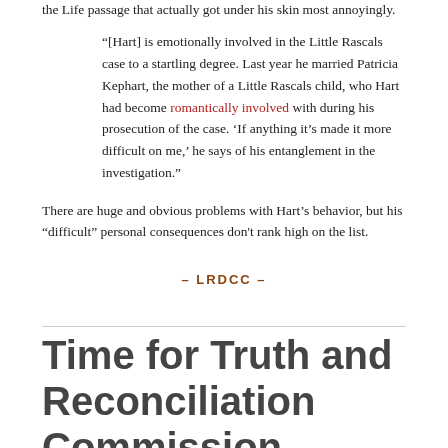the Life passage that actually got under his skin most annoyingly.
“[Hart] is emotionally involved in the Little Rascals case to a startling degree. Last year he married Patricia Kephart, the mother of a Little Rascals child, who Hart had become romantically involved with during his prosecution of the case. ‘If anything it’s made it more difficult on me,’ he says of his entanglement in the investigation.”
There are huge and obvious problems with Hart’s behavior, but his “difficult” personal consequences don't rank high on the list.
– LRDCC –
Time for Truth and Reconciliation Commission